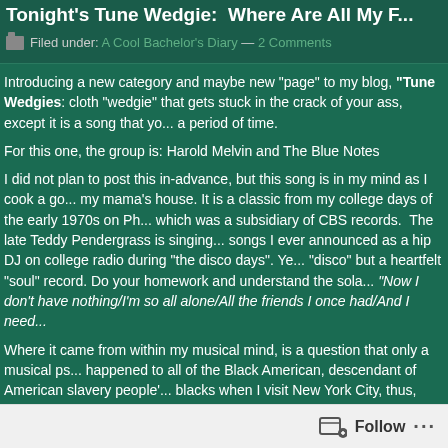Tonight's Tune Wedgie: "Where Are All My F..."
Filed under: A Cool Bachelor's Diary — 2 Comments
Introducing a new category and maybe new "page" to my blog, "Tune Wedgies": cloth "wedgie" that gets stuck in the crack of your ass, except it is a song that you... a period of time.
For this one, the group is: Harold Melvin and The Blue Notes
I did not plan to post this in-advance, but this song is in my mind as I cook a go... my mama's house. It is a classic from my college days of the early 1970s on Ph... which was a subsidiary of CBS records. The late Teddy Pendergrass is singing... songs I ever announced as a hip DJ on college radio during "the disco days". Ye... "disco" but a heartfelt "soul" record. Do your homework and understand the sola... "Now I don't have nothing/I'm so all alone/All the friends I once had/And I need...
Where it came from within my musical mind, is a question that only a musical ps... happened to all of the Black American, descendant of American slavery people'... blacks when I visit New York City, thus, "where have all my friends [gone]?" My... temporary living situation that does not allow me to PLAY my thousands of mus... career of over forty years, my brain takes over randomly to sustain the history w...